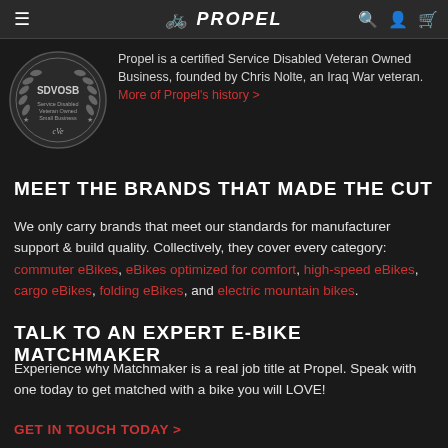PROPEL
[Figure (logo): SDVOSB (Service Disabled Veteran Owned Small Business) seal/emblem in dark gray]
Propel is a certified Service Disabled Veteran Owned Business, founded by Chris Nolte, an Iraq War veteran. More of Propel's history >
MEET THE BRANDS THAT MADE THE CUT
We only carry brands that meet our standards for manufacturer support & build quality. Collectively, they cover every category: commuter eBikes, eBikes optimized for comfort, high-speed eBikes, cargo eBikes, folding eBikes, and electric mountain bikes.
TALK TO AN EXPERT E-BIKE MATCHMAKER
Experience why Matchmaker is a real job title at Propel. Speak with one today to get matched with a bike you will LOVE!
GET IN TOUCH TODAY >